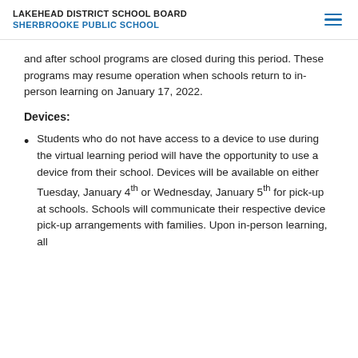LAKEHEAD DISTRICT SCHOOL BOARD
SHERBROOKE PUBLIC SCHOOL
and after school programs are closed during this period. These programs may resume operation when schools return to in-person learning on January 17, 2022.
Devices:
Students who do not have access to a device to use during the virtual learning period will have the opportunity to use a device from their school. Devices will be available on either Tuesday, January 4th or Wednesday, January 5th for pick-up at schools. Schools will communicate their respective device pick-up arrangements with families. Upon in-person learning, all